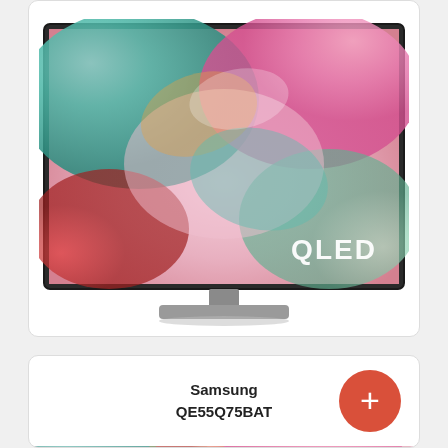[Figure (photo): Samsung QLED TV showing colorful abstract swirling paint in teal, pink, green and red colors with QLED logo in bottom right corner, mounted on a silver stand]
Samsung QE55Q75BAT
[Figure (photo): Partial view of another Samsung QLED TV showing the same colorful abstract swirling paint display]